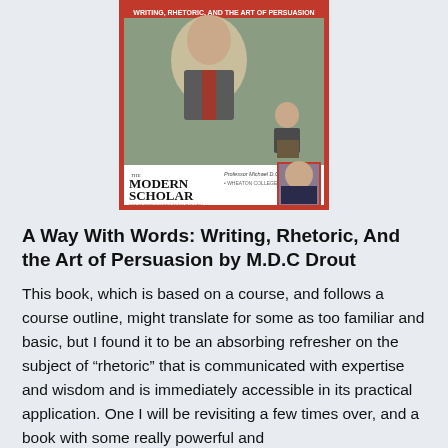[Figure (photo): Book cover of 'The Modern Scholar: A Way With Words: Writing, Rhetoric, and the Art of Persuasion' by Professor Michael D.C. Drout, Wheaton College. Red border with images of a man speaking/gesturing and a photo of the professor.]
A Way With Words: Writing, Rhetoric, And the Art of Persuasion by M.D.C Drout
This book, which is based on a course, and follows a course outline, might translate for some as too familiar and basic, but I found it to be an absorbing refresher on the subject of “rhetoric” that is communicated with expertise and wisdom and is immediately accessible in its practical application. One I will be revisiting a few times over, and a book with some really powerful and